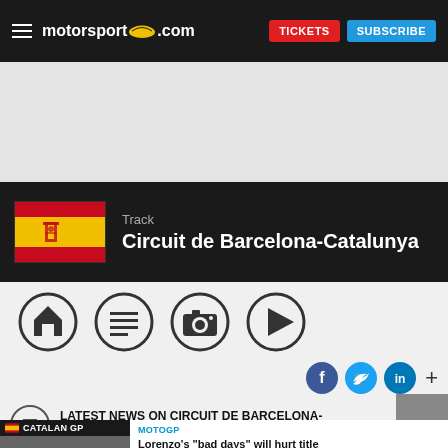motorsport.com — TICKETS SUBSCRIBE
[Figure (screenshot): Advertisement placeholder area (light gray)]
Track Circuit de Barcelona-Catalunya
[Figure (infographic): Navigation icon row: home, news, camera, play icons]
[Figure (infographic): Social sharing icons: Facebook, Twitter, LinkedIn, plus]
LATEST NEWS ON CIRCUIT DE BARCELONA-CATALUNYA
CATALAN GP — MOTOGP — Lorenzo's "bad days" will hurt title